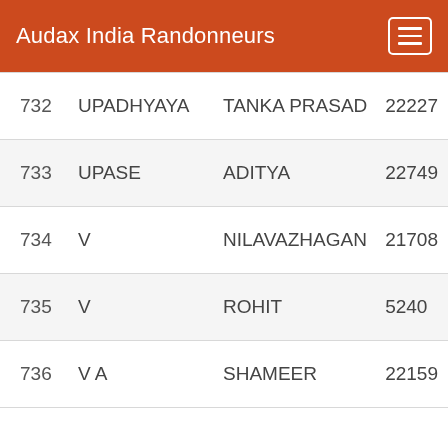Audax India Randonneurs
| # | Last Name | First Name | ID |
| --- | --- | --- | --- |
| 732 | UPADHYAYA | TANKA PRASAD | 22227 |
| 733 | UPASE | ADITYA | 22749 |
| 734 | V | NILAVAZHAGAN | 21708 |
| 735 | V | ROHIT | 5240 |
| 736 | V A | SHAMEER | 22159 |